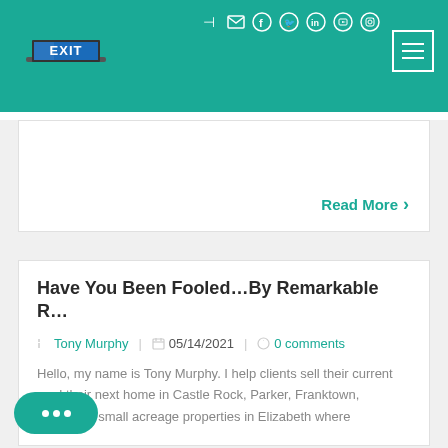EXIT Realty website header with logo and navigation
Read More »
Have You Been Fooled…By Remarkable R…
Tony Murphy  05/14/2021  0 comments
Hello, my name is Tony Murphy. I help clients sell their current and their next home in Castle Rock, Parker, Franktown, specialty, small acreage properties in Elizabeth where...